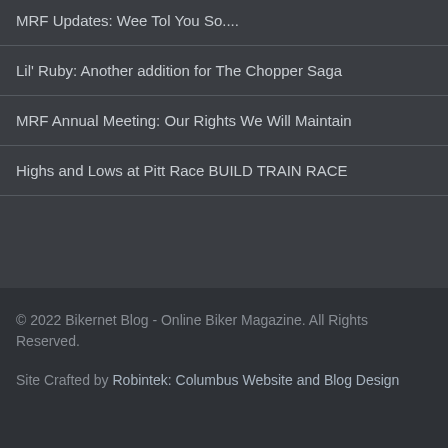MRF Updates: Wee Tol You So....
Lil' Ruby: Another addition for The Chopper Saga
MRF Annual Meeting: Our Rights We Will Maintain
Highs and Lows at Pitt Race BUILD TRAIN RACE
© 2022 Bikernet Blog - Online Biker Magazine. All Rights Reserved.
Site Crafted by Robintek: Columbus Website and Blog Design